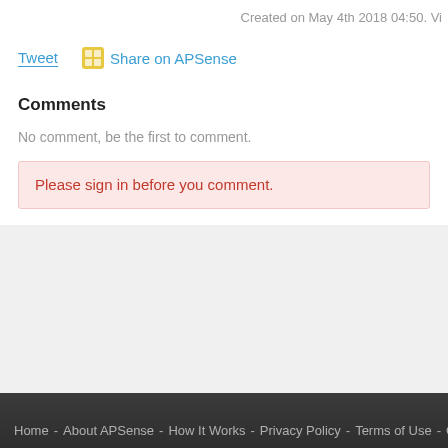Created on May 4th 2018 04:50. Vi
Tweet
Share on APSense
Comments
No comment, be the first to comment.
Please sign in before you comment.
Home - About APSense - How It Works - Privacy Policy - Terms of Use - Contact Us